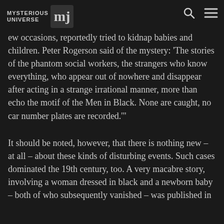MYSTERIOUS UNIVERSE
ew occasions, reportedly tried to kidnap babies and children. Peter Rogerson said of the mystery: 'The stories of the phantom social workers, the strangers who know everything, who appear out of nowhere and disappear after acting in a strange irrational manner, more than echo the motif of the Men in Black. None are caught, no car number plates are recorded.'"
It should be noted, however, that there is nothing new - at all - about these kinds of disturbing events. Such cases dominated the 19th century, too. A very macabre story, involving a woman dressed in black and a newborn baby – both of who subsequently vanished – was published in